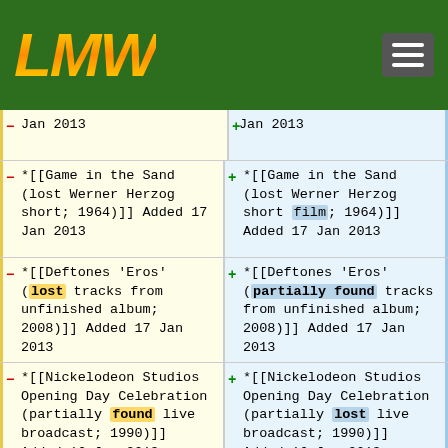[Figure (logo): LMW logo in gold/orange italic letters on dark green background header with hamburger menu icon]
| Left (old) | Right (new) |
| --- | --- |
| Jan 2013 | Jan 2013 |
| *[[Game in the Sand (lost Werner Herzog short; 1964)]] Added 17 Jan 2013 | *[[Game in the Sand (lost Werner Herzog short film; 1964)]] Added 17 Jan 2013 |
| *[[Deftones 'Eros' (lost tracks from unfinished album; 2008)]] Added 17 Jan 2013 | *[[Deftones 'Eros' (partially found tracks from unfinished album; 2008)]] Added 17 Jan 2013 |
| *[[Nickelodeon Studios Opening Day Celebration (partially found live broadcast; 1990)]] Added 16 Jan 2013 | *[[Nickelodeon Studios Opening Day Celebration (partially lost live broadcast; 1990)]] Added 16 Jan 2013 |
| *[[JoJo's Bizarre Adventure: Phantom | *[[JoJo's Bizarre Adventure: Phantom |